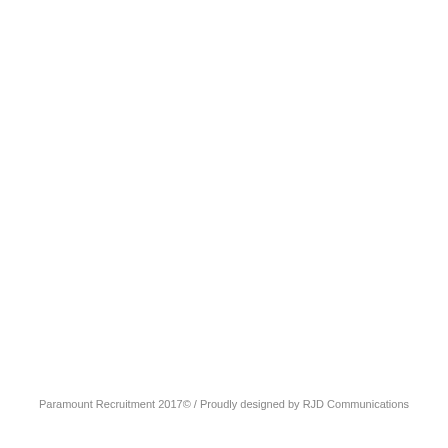Paramount Recruitment 2017© / Proudly designed by RJD Communications